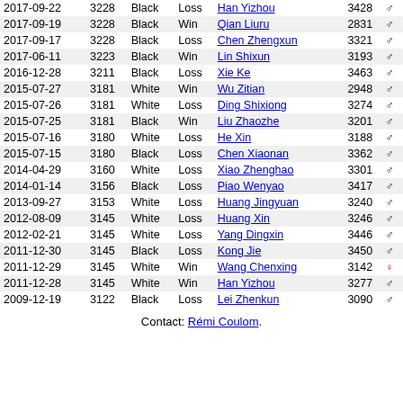| Date | Rating | Color | Result | Opponent | Opp.Rating | Gender |
| --- | --- | --- | --- | --- | --- | --- |
| 2017-09-22 | 3228 | Black | Loss | Han Yizhou | 3428 | ♂ |
| 2017-09-19 | 3228 | Black | Win | Qian Liuru | 2831 | ♂ |
| 2017-09-17 | 3228 | Black | Loss | Chen Zhengxun | 3321 | ♂ |
| 2017-06-11 | 3223 | Black | Win | Lin Shixun | 3193 | ♂ |
| 2016-12-28 | 3211 | Black | Loss | Xie Ke | 3463 | ♂ |
| 2015-07-27 | 3181 | White | Win | Wu Zitian | 2948 | ♂ |
| 2015-07-26 | 3181 | White | Loss | Ding Shixiong | 3274 | ♂ |
| 2015-07-25 | 3181 | Black | Win | Liu Zhaozhe | 3201 | ♂ |
| 2015-07-16 | 3180 | White | Loss | He Xin | 3188 | ♂ |
| 2015-07-15 | 3180 | Black | Loss | Chen Xiaonan | 3362 | ♂ |
| 2014-04-29 | 3160 | White | Loss | Xiao Zhenghao | 3301 | ♂ |
| 2014-01-14 | 3156 | Black | Loss | Piao Wenyao | 3417 | ♂ |
| 2013-09-27 | 3153 | White | Loss | Huang Jingyuan | 3240 | ♂ |
| 2012-08-09 | 3145 | White | Loss | Huang Xin | 3246 | ♂ |
| 2012-02-21 | 3145 | White | Loss | Yang Dingxin | 3446 | ♂ |
| 2011-12-30 | 3145 | Black | Loss | Kong Jie | 3450 | ♂ |
| 2011-12-29 | 3145 | White | Win | Wang Chenxing | 3142 | ♀ |
| 2011-12-28 | 3145 | White | Win | Han Yizhou | 3277 | ♂ |
| 2009-12-19 | 3122 | Black | Loss | Lei Zhenkun | 3090 | ♂ |
Contact: Rémi Coulom.